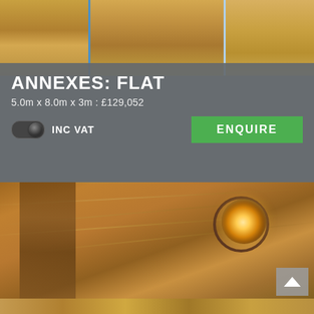[Figure (photo): Wooden panels/slats showing exterior building materials in warm honey tones with a blue window frame visible]
ANNEXES: FLAT
5.0m x 8.0m x 3m : £129,052
INC VAT
ENQUIRE
[Figure (photo): Interior wooden ceiling with warm wood grain planks and a recessed circular LED downlight glowing amber]
[Figure (photo): Partial view of wooden flooring or decking at the bottom of the page]